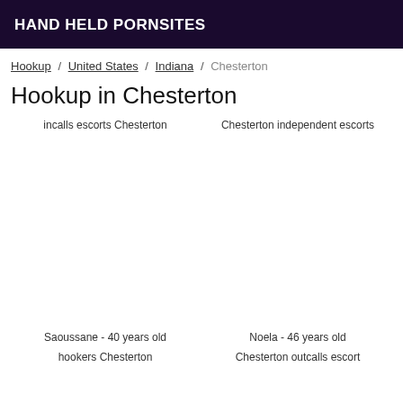HAND HELD PORNSITES
Hookup / United States / Indiana / Chesterton
Hookup in Chesterton
incalls escorts Chesterton
Chesterton independent escorts
Saoussane - 40 years old
Noela - 46 years old
hookers Chesterton
Chesterton outcalls escort